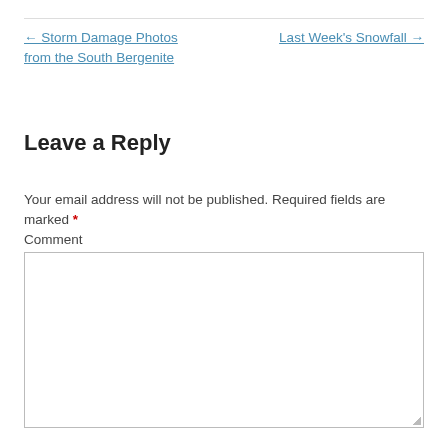← Storm Damage Photos from the South Bergenite
Last Week's Snowfall →
Leave a Reply
Your email address will not be published. Required fields are marked *
Comment